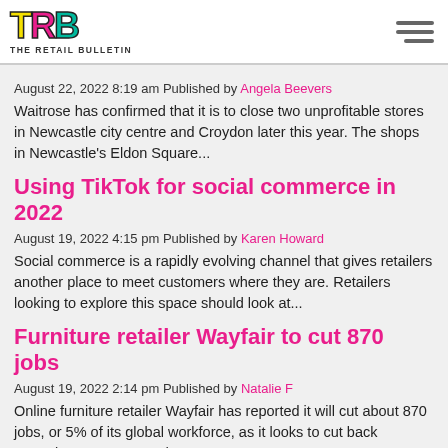TRB THE RETAIL BULLETIN
August 22, 2022 8:19 am Published by Angela Beevers
Waitrose has confirmed that it is to close two unprofitable stores in Newcastle city centre and Croydon later this year. The shops in Newcastle's Eldon Square...
Using TikTok for social commerce in 2022
August 19, 2022 4:15 pm Published by Karen Howard
Social commerce is a rapidly evolving channel that gives retailers another place to meet customers where they are. Retailers looking to explore this space should look at...
Furniture retailer Wayfair to cut 870 jobs
August 19, 2022 2:14 pm Published by Natalie F
Online furniture retailer Wayfair has reported it will cut about 870 jobs, or 5% of its global workforce, as it looks to cut back operating expenses and...